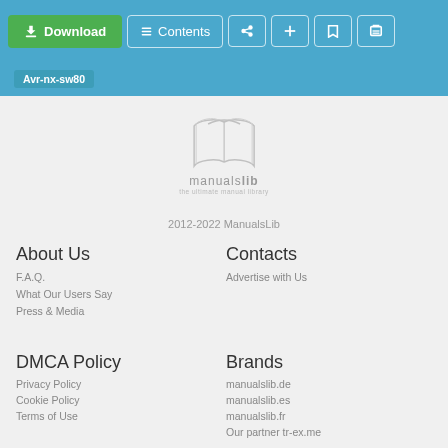Download | Contents | Share | Add | Bookmark | Print
Avr-nx-sw80
[Figure (logo): ManualsLib open book logo with text 'manualslib - the ultimate manual library']
2012-2022 ManualsLib
About Us
F.A.Q.
What Our Users Say
Press & Media
Contacts
Advertise with Us
DMCA Policy
Privacy Policy
Cookie Policy
Terms of Use
Brands
manualslib.de
manualslib.es
manualslib.fr
Our partner tr-ex.me